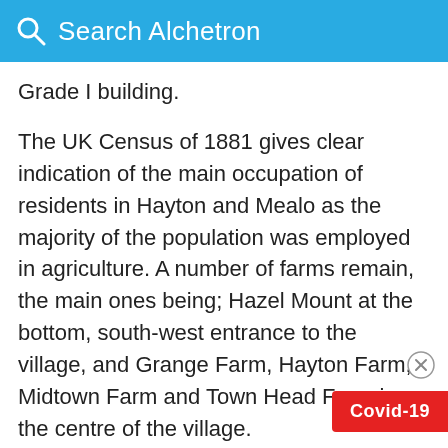Search Alchetron
Grade I building.
The UK Census of 1881 gives clear indication of the main occupation of residents in Hayton and Mealo as the majority of the population was employed in agriculture. A number of farms remain, the main ones being; Hazel Mount at the bottom, south-west entrance to the village, and Grange Farm, Hayton Farm, Midtown Farm and Town Head Farm in the centre of the village.
There is also a PW – Place of Worship marked on some older maps however this building is not official named as an active place of wors… land use is clear with the gravestone visible from